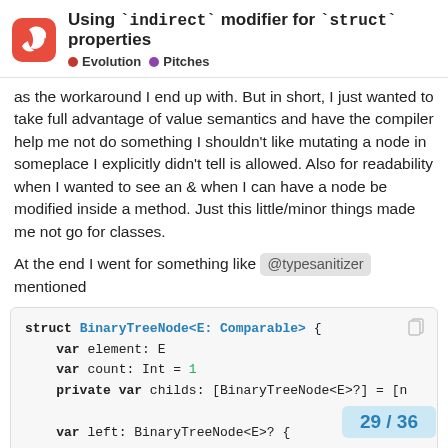Using `indirect` modifier for `struct` properties — Evolution | Pitches
as the workaround I end up with. But in short, I just wanted to take full advantage of value semantics and have the compiler help me not do something I shouldn't like mutating a node in someplace I explicitly didn't tell is allowed. Also for readability when I wanted to see an & when I can have a node be modified inside a method. Just this little/minor things made me not go for classes.
At the end I went for something like @typesanitizer mentioned
[Figure (screenshot): Swift code block showing a BinaryTreeNode struct definition with var element: E, var count: Int = 1, private var childs: [BinaryTreeNode<E>?] = [n, and a var left: BinaryTreeNode<E>? computed property with get { childs[0] } and set { childs[0] = newValue]
29 / 36